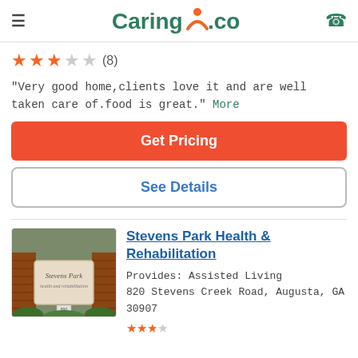Caring.com
[Figure (other): Star rating: 3 out of 5 stars (8 reviews)]
"Very good home,clients love it and are well taken care of.food is great." More
Get Pricing
See Details
[Figure (photo): Stevens Park Health & Rehabilitation facility sign with brick pillars]
Stevens Park Health & Rehabilitation
Provides: Assisted Living
820 Stevens Creek Road, Augusta, GA 30907